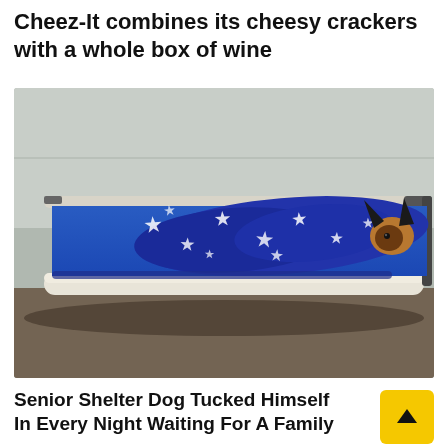Cheez-It combines its cheesy crackers with a whole box of wine
[Figure (photo): A small dog wrapped in a blue blanket with white stars, lying on a blue elevated pet cot in what appears to be a shelter kennel. Only the dog's ears are visible sticking out from the blanket.]
Senior Shelter Dog Tucked Himself In Every Night Waiting For A Family